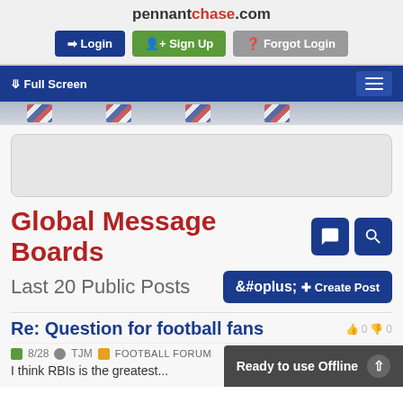pennantchase.com
Login | Sign Up | Forgot Login
Full Screen
Global Message Boards
Last 20 Public Posts
Re: Question for football fans
8/28  TJM  FOOTBALL FORUM
I think RBIs is the greatest...
Ready to use Offline